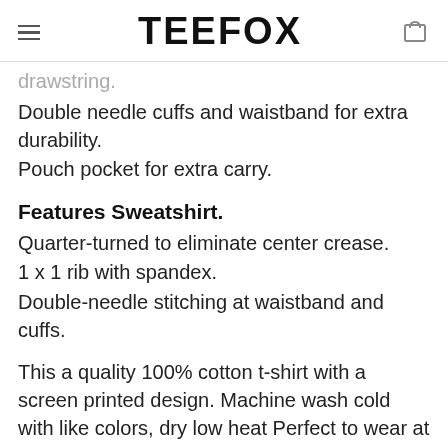TEEFOX
drawstring.
Double needle cuffs and waistband for extra durability.
Pouch pocket for extra carry.
Features Sweatshirt.
Quarter-turned to eliminate center crease.
1 x 1 rib with spandex.
Double-needle stitching at waistband and cuffs.
This a quality 100% cotton t-shirt with a screen printed design. Machine wash cold with like colors, dry low heat Perfect to wear at home or out on the town. Lightweight, Classic fit, Double-needle sleeve